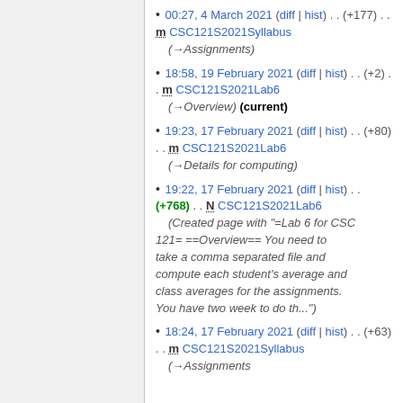00:27, 4 March 2021 (diff | hist) . . (+177) . . m CSC121S2021Syllabus (→Assignments)
18:58, 19 February 2021 (diff | hist) . . (+2) . . m CSC121S2021Lab6 (→Overview) (current)
19:23, 17 February 2021 (diff | hist) . . (+80) . . m CSC121S2021Lab6 (→Details for computing)
19:22, 17 February 2021 (diff | hist) . . (+768) . . N CSC121S2021Lab6 (Created page with "=Lab 6 for CSC 121= ==Overview== You need to take a comma separated file and compute each student's average and class averages for the assignments. You have two week to do th...")
18:24, 17 February 2021 (diff | hist) . . (+63) . . m CSC121S2021Syllabus (→Assignments)